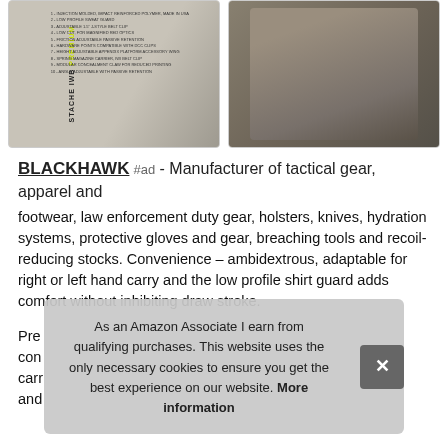[Figure (photo): Left box: product photo of STACHE IWB PREMIUM holster with numbered feature list. Right box: photo of person wearing holster on belt.]
BLACKHAWK #ad - Manufacturer of tactical gear, apparel and footwear, law enforcement duty gear, holsters, knives, hydration systems, protective gloves and gear, breaching tools and recoil-reducing stocks. Convenience – ambidextrous, adaptable for right or left hand carry and the low profile shirt guard adds comfort without inhibiting draw stroke.
Pre... con... carr... and...
As an Amazon Associate I earn from qualifying purchases. This website uses the only necessary cookies to ensure you get the best experience on our website. More information